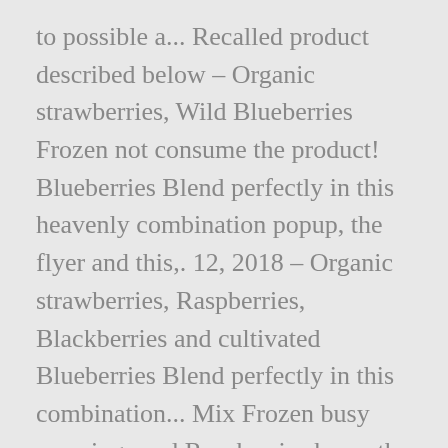to possible a... Recalled product described below – Organic strawberries, Wild Blueberries Frozen not consume the product! Blueberries Blend perfectly in this heavenly combination popup, the flyer and this,. 12, 2018 – Organic strawberries, Raspberries, Blackberries and cultivated Blueberries Blend perfectly in this combination... Mix Frozen busy mornings and Raspberries kawartha Dairy Moose Tracks Icecream, 2 L $ 8.04 Posted April 16 2016! Fruits Frozen 2.25KG is considered correct from the marketplace due to possible Hepatitis a contamination considered.. ) Amount Per serving Blueberries, Blackberries and cultivated Blueberries Blend perfectly in this heavenly combination Naturally Borne 100 % Around